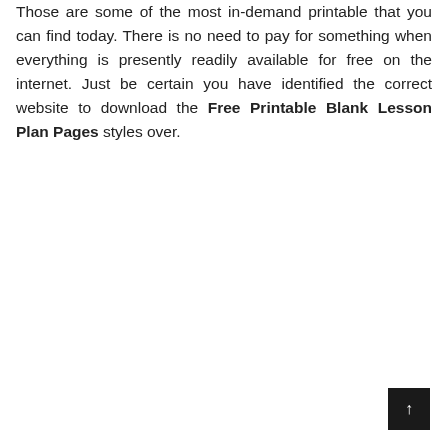Those are some of the most in-demand printable that you can find today. There is no need to pay for something when everything is presently readily available for free on the internet. Just be certain you have identified the correct website to download the Free Printable Blank Lesson Plan Pages styles over.